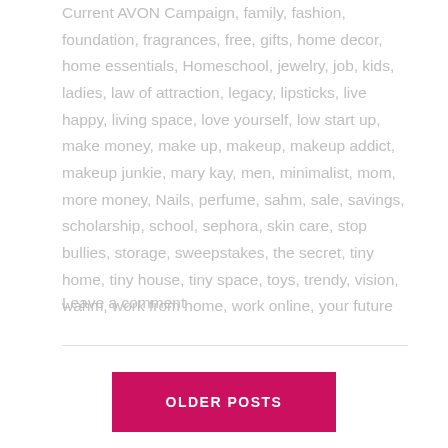Current AVON Campaign, family, fashion, foundation, fragrances, free, gifts, home decor, home essentials, Homeschool, jewelry, job, kids, ladies, law of attraction, legacy, lipsticks, live happy, living space, love yourself, low start up, make money, make up, makeup, makeup addict, makeup junkie, mary kay, men, minimalist, mom, more money, Nails, perfume, sahm, sale, savings, scholarship, school, sephora, skin care, stop bullies, storage, sweepstakes, the secret, tiny home, tiny house, tiny space, toys, trendy, vision, wahm, work from home, work online, your future
Leave a comment
OLDER POSTS